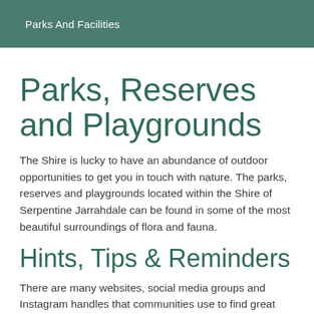Parks And Facilities
Parks, Reserves and Playgrounds
The Shire is lucky to have an abundance of outdoor opportunities to get you in touch with nature. The parks, reserves and playgrounds located within the Shire of Serpentine Jarrahdale can be found in some of the most beautiful surroundings of flora and fauna.
Hints, Tips & Reminders
There are many websites, social media groups and Instagram handles that communities use to find great